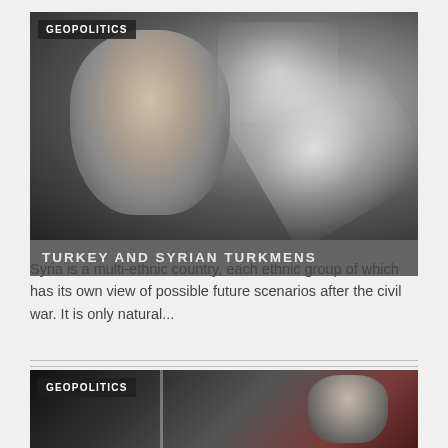[Figure (photo): Geopolitics article header image showing a young woman in traditional dress with map of Syria and a flag overlay in dark monochrome tones. Badge reads GEOPOLITICS.]
TURKEY AND SYRIAN TURKMENS
Syria is a multi-ethnic country, each ethnic group of which has its own view of possible future scenarios after the civil war. It is only natural...
[Figure (photo): Second geopolitics article header image showing a dark background with a vertical line divider and a figure on the right. Badge reads GEOPOLITICS.]